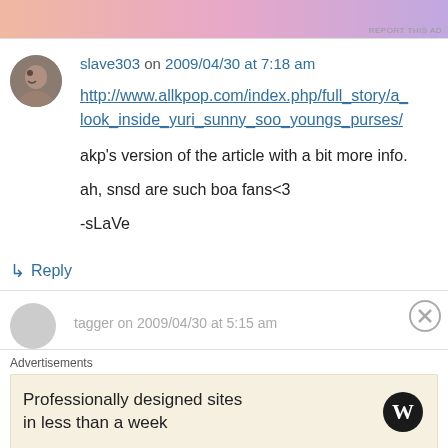[Figure (other): Advertisement banner at top with gradient pink-purple color]
slave303 on 2009/04/30 at 7:18 am
http://www.allkpop.com/index.php/full_story/a_look_inside_yuri_sunny_soo_youngs_purses/
akp's version of the article with a bit more info.
ah, snsd are such boa fans<3
-sLaVe
↳ Reply
tagger on 2009/04/30 at 5:15 am
Advertisements
Professionally designed sites in less than a week